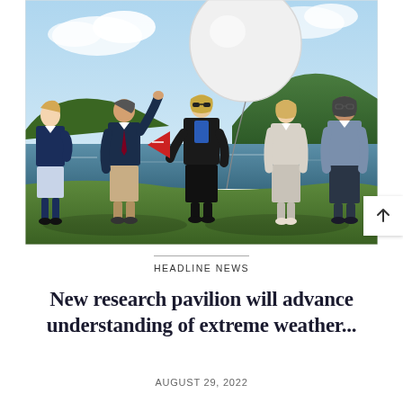[Figure (photo): Five people standing outdoors on a grassy area near a lake and green hills, with a large white weather balloon being held up by one of the people. One person in the center holds a red pennant flag. Trees and a mountain are visible in the background under a partly cloudy sky.]
HEADLINE NEWS
New research pavilion will advance understanding of extreme weather...
AUGUST 29, 2022